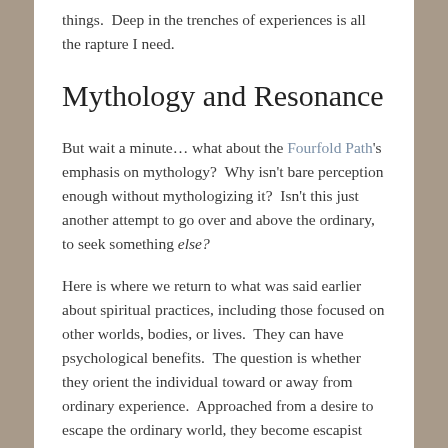things.  Deep in the trenches of experiences is all the rapture I need.
Mythology and Resonance
But wait a minute… what about the Fourfold Path's emphasis on mythology?  Why isn't bare perception enough without mythologizing it?  Isn't this just another attempt to go over and above the ordinary, to seek something else?
Here is where we return to what was said earlier about spiritual practices, including those focused on other worlds, bodies, or lives.  They can have psychological benefits.  The question is whether they orient the individual toward or away from ordinary experience.  Approached from a desire to escape the ordinary world, they become escapist and unhealthy.  Approached from